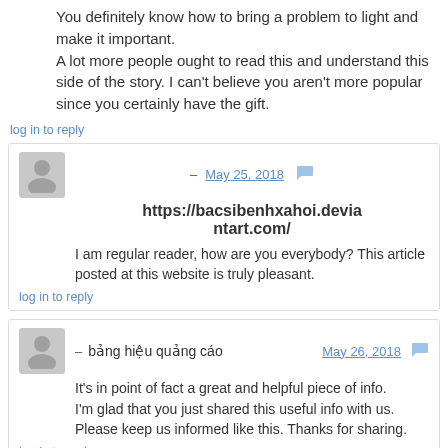You definitely know how to bring a problem to light and make it important. A lot more people ought to read this and understand this side of the story. I can't believe you aren't more popular since you certainly have the gift.
log in to reply
– May 25, 2018
https://bacsibenhxahoi.deviantart.com/
I am regular reader, how are you everybody? This article posted at this website is truly pleasant.
log in to reply
– bảng hiệu quảng cáo May 26, 2018
It's in point of fact a great and helpful piece of info. I'm glad that you just shared this useful info with us. Please keep us informed like this. Thanks for sharing.
log in to reply
– 日本語テキスト June 5, 2018